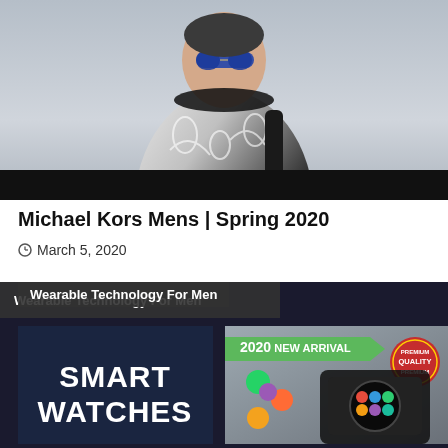[Figure (photo): Young man wearing sunglasses, patterned black and white jacket with headphones around neck, black backpack, fashion editorial style photo]
Michael Kors Mens | Spring 2020
March 5, 2020
[Figure (photo): Wearable Technology For Men - two product images showing smart watches, left panel with dark blue background and bold white text 'SMART WATCHES', right panel showing a smartwatch product with 2020 New Arrival green badge and Premium Quality red seal]
Wearable Technology For Men